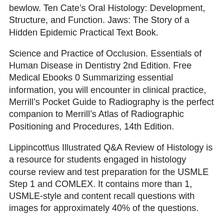bewlow. Ten Cate’s Oral Histology: Development, Structure, and Function. Jaws: The Story of a Hidden Epidemic Practical Text Book.
Science and Practice of Occlusion. Essentials of Human Disease in Dentistry 2nd Edition. Free Medical Ebooks 0 Summarizing essential information, you will encounter in clinical practice, Merrill’s Pocket Guide to Radiography is the perfect companion to Merrill’s Atlas of Radiographic Positioning and Procedures, 14th Edition.
Lippincott\us Illustrated Q&A Review of Histology is a resource for students engaged in histology course review and test preparation for the USMLE Step 1 and COMLEX. It contains more than 1, USMLE-style and content recall questions with images for approximately 40% of the questions.
Features:USMLE-style multiple choice questions—each vignette is followed by a question stem that Price: $ Lippincott’s Illustrated Q&A Review of Histology is a resource for students engaged in histology course review and test preparation for the USMLE Step 1 and COMLEX. It contains more than